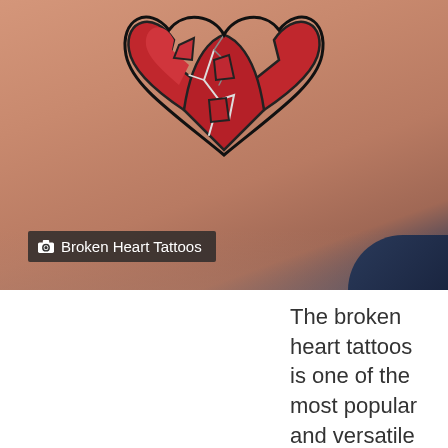[Figure (photo): Close-up photo of a broken heart tattoo on skin, showing a red anatomical heart tattoo with cracks/breaks through it, against skin background with dark blue fabric visible at edge.]
Broken Heart Tattoos
The broken heart tattoos is one of the most popular and versatile tattoo designs